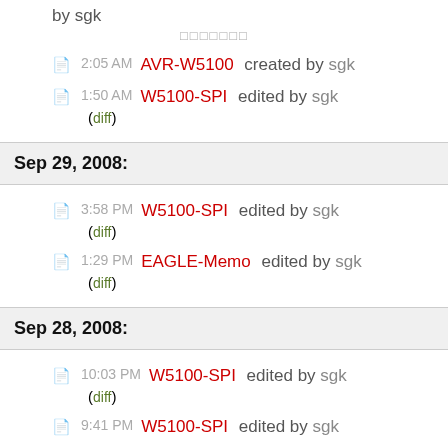by sgk
□□□□□□□
2:05 AM AVR-W5100 created by sgk
1:50 AM W5100-SPI edited by sgk (diff)
Sep 29, 2008:
3:58 PM W5100-SPI edited by sgk (diff)
1:29 PM EAGLE-Memo edited by sgk (diff)
Sep 28, 2008:
10:03 PM W5100-SPI edited by sgk (diff)
9:41 PM W5100-SPI edited by sgk